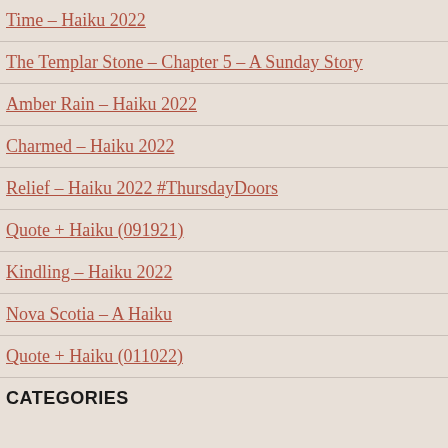Time – Haiku 2022
The Templar Stone – Chapter 5 – A Sunday Story
Amber Rain – Haiku 2022
Charmed – Haiku 2022
Relief – Haiku 2022 #ThursdayDoors
Quote + Haiku (091921)
Kindling – Haiku 2022
Nova Scotia – A Haiku
Quote + Haiku (011022)
CATEGORIES